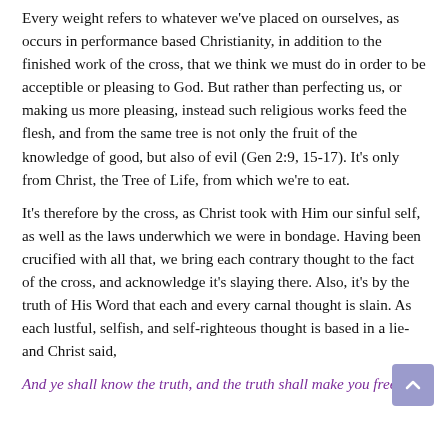Every weight refers to whatever we've placed on ourselves, as occurs in performance based Christianity, in addition to the finished work of the cross, that we think we must do in order to be acceptible or pleasing to God. But rather than perfecting us, or making us more pleasing, instead such religious works feed the flesh, and from the same tree is not only the fruit of the knowledge of good, but also of evil (Gen 2:9, 15-17). It's only from Christ, the Tree of Life, from which we're to eat.
It's therefore by the cross, as Christ took with Him our sinful self, as well as the laws underwhich we were in bondage. Having been crucified with all that, we bring each contrary thought to the fact of the cross, and acknowledge it's slaying there. Also, it's by the truth of His Word that each and every carnal thought is slain. As each lustful, selfish, and self-righteous thought is based in a lie- and Christ said,
And ye shall know the truth, and the truth shall make you free –